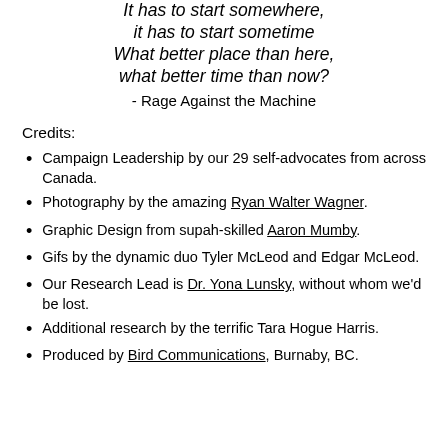It has to start somewhere, it has to start sometime What better place than here, what better time than now? - Rage Against the Machine
Credits:
Campaign Leadership by our 29 self-advocates from across Canada.
Photography by the amazing Ryan Walter Wagner.
Graphic Design from supah-skilled Aaron Mumby.
Gifs by the dynamic duo Tyler McLeod and Edgar McLeod.
Our Research Lead is Dr. Yona Lunsky, without whom we'd be lost.
Additional research by the terrific Tara Hogue Harris.
Produced by Bird Communications, Burnaby, BC.